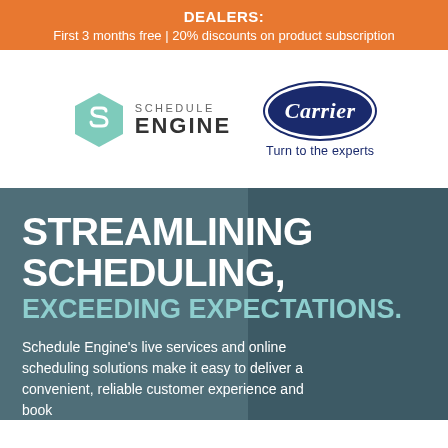DEALERS: First 3 months free | 20% discounts on product subscription
[Figure (logo): Schedule Engine logo — hexagonal teal icon with S mark, text 'SCHEDULE ENGINE']
[Figure (logo): Carrier logo — dark navy oval badge with italic 'Carrier' text, tagline 'Turn to the experts']
STREAMLINING SCHEDULING, EXCEEDING EXPECTATIONS.
Schedule Engine's live services and online scheduling solutions make it easy to deliver a convenient, reliable customer experience and book